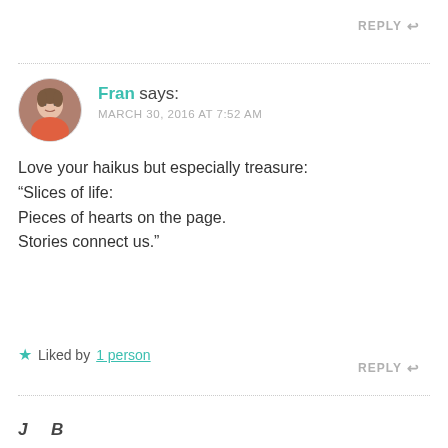REPLY ↩
[Figure (photo): Avatar photo of a woman named Fran, circular cropped headshot]
Fran says:
MARCH 30, 2016 AT 7:52 AM
Love your haikus but especially treasure:
“Slices of life:
Pieces of hearts on the page.
Stories connect us.”
★ Liked by 1 person
REPLY ↩